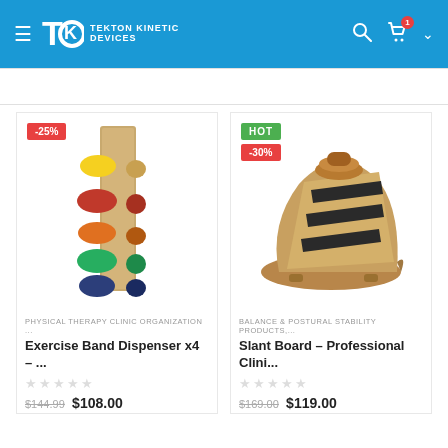Tekton Kinetic Devices — navigation header with menu, logo, search, cart (1 item)
RELATED PRODUCTS
[Figure (photo): Exercise Band Dispenser x4 — wooden box dispenser with colored exercise bands (yellow, red, orange, green, blue), -25% discount badge]
PHYSICAL THERAPY CLINIC ORGANIZATION ...
Exercise Band Dispenser x4 – ...
$144.99  $108.00
[Figure (photo): Slant Board – Professional Clinical model, wooden slant board with black non-slip surface strips, HOT badge and -30% discount badge]
BALANCE & POSTURAL STABILITY PRODUCTS,...
Slant Board – Professional Clini...
$169.00  $119.00